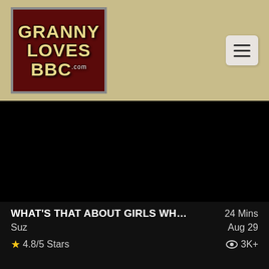[Figure (logo): Website logo: dark red box with gold text reading GRANNY LOVES BBC .com]
[Figure (logo): Brand logo: FLAT and Fucked Milfs.com in white and yellow italic text on black background]
WHAT'S THAT ABOUT GIRLS WH...
24 Mins
Suz
Aug 29
★ 4.8/5 Stars
👁 3K+